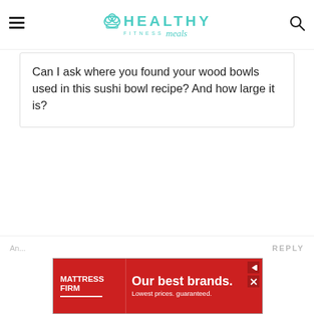HEALTHY FITNESS meals
Can I ask where you found your wood bowls used in this sushi bowl recipe? And how large it is?
[Figure (screenshot): Mattress Firm advertisement banner: red background with white text reading 'Our best brands. Lowest prices. guaranteed.' with Mattress Firm logo on left and navigation arrows on right]
An... REPLY